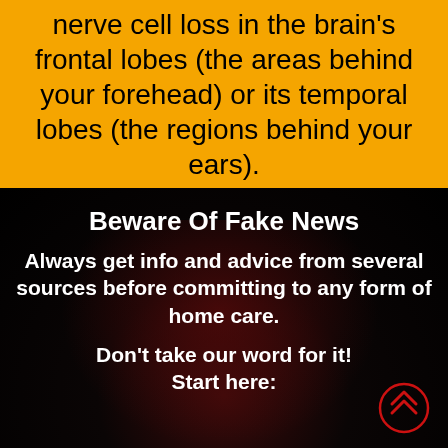nerve cell loss in the brain's frontal lobes (the areas behind your forehead) or its temporal lobes (the regions behind your ears).
Beware Of Fake News
Always get info and advice from several sources before committing to any form of home care.
Don't take our word for it! Start here: